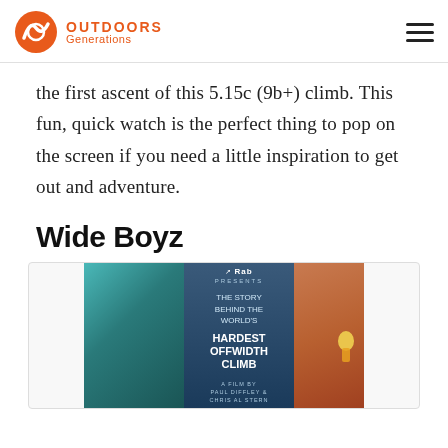OUTDOORS Generations
the first ascent of this 5.15c (9b+) climb. This fun, quick watch is the perfect thing to pop on the screen if you need a little inspiration to get out and adventure.
Wide Boyz
[Figure (photo): Movie poster for 'Wide Boyz' presented by Rab — The Story Behind the World's Hardest Offwidth Climb. A Film By Paul Diffley & Chris Al Stern. Background shows teal rock on the left and orange sandstone cliff with a climber on the right.]